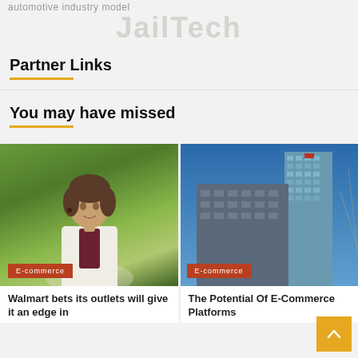automotive industry model
JailTech
Partner Links
You may have missed
[Figure (photo): Woman in white blazer smiling outdoors with green trees in background, E-commerce badge overlay]
Walmart bets its outlets will give it an edge in
[Figure (photo): Modern city buildings/skyscrapers against blue sky, E-commerce badge overlay]
The Potential Of E-Commerce Platforms